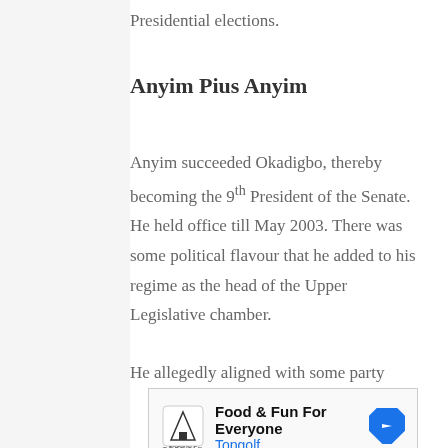Presidential elections.
Anyim Pius Anyim
Anyim succeeded Okadigbo, thereby becoming the 9th President of the Senate. He held office till May 2003. There was some political flavour that he added to his regime as the head of the Upper Legislative chamber.
He allegedly aligned with some party
[Figure (other): Advertisement banner for Topgolf reading 'Food & Fun For Everyone' with Topgolf logo and navigation arrow icon]